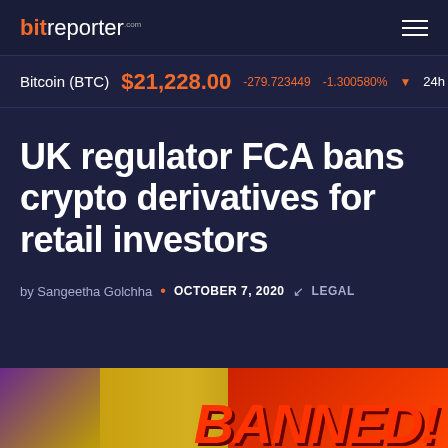bitreporter.com
Bitcoin (BTC) $21,228.00 -279.723449 -1.300580% ▼ 24h
UK regulator FCA bans crypto derivatives for retail investors
by Sangeetha Golchha • OCTOBER 7, 2020 ⌐ LEGAL
[Figure (photo): Partially visible image showing a 'BANNED' graphic with red text and gold/purple background]